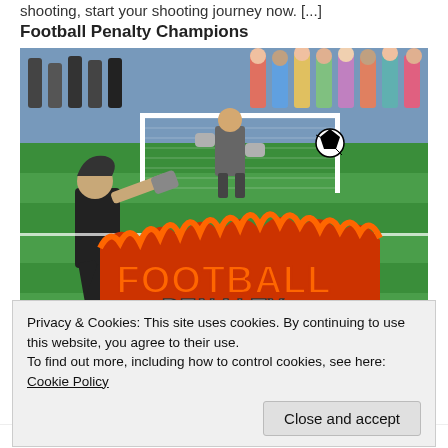shooting, start your shooting journey now. [...]
Football Penalty Champions
[Figure (illustration): Cartoon-style football penalty game screenshot showing a player about to kick a ball toward a goalkeeper at a goal, with crowd in the background. The image has 'FOOTBALL PENALTY CHAMPIONS' text in large orange and white letters with flame effects.]
Privacy & Cookies: This site uses cookies. By continuing to use this website, you agree to their use.
To find out more, including how to control cookies, see here: Cookie Policy
Close and accept
match during the last minutes of the game. It's a tie [...]